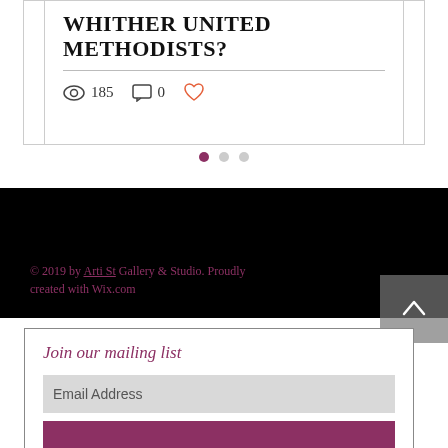WHITHER UNITED METHODISTS?
185 views  0 comments  0 likes
[Figure (other): Pagination dots: one active (filled dark pink/maroon), two inactive (grey)]
© 2019 by Arti St Gallery & Studio. Proudly created with Wix.com
Join our mailing list
Email Address